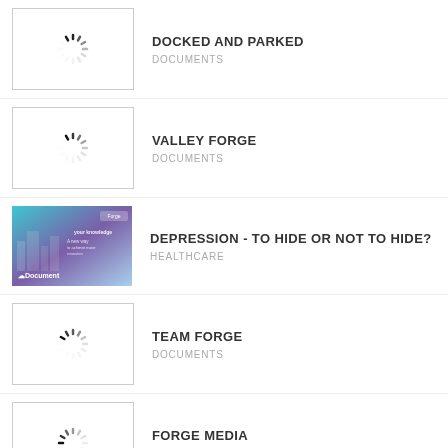DOCKED AND PARKED
DOCUMENTS
VALLEY FORGE
DOCUMENTS
DEPRESSION - TO HIDE OR NOT TO HIDE?
HEALTHCARE
TEAM FORGE
DOCUMENTS
FORGE MEDIA
DOCUMENTS